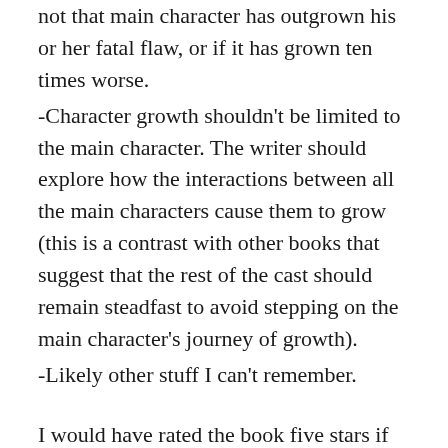not that main character has outgrown his or her fatal flaw, or if it has grown ten times worse.
-Character growth shouldn't be limited to the main character. The writer should explore how the interactions between all the main characters cause them to grow (this is a contrast with other books that suggest that the rest of the cast should remain steadfast to avoid stepping on the main character's journey of growth).
-Likely other stuff I can't remember.
I would have rated the book five stars if some of its points didn't get repetitive. For example, it brings up studies that show that our ancient brains make our decisions for us, and the parts of our brains that evolved later mostly make up a story of what has bubbled up to